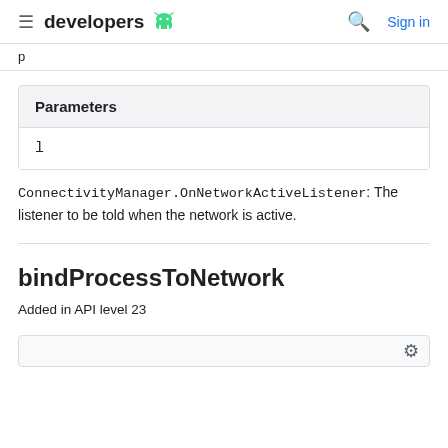developers [android logo] | Search | Sign in
p
| Parameters |
| --- |
| l |
ConnectivityManager.OnNetworkActiveListener: The listener to be told when the network is active.
bindProcessToNetwork
Added in API level 23